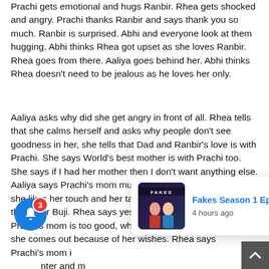Prachi gets emotional and hugs Ranbir. Rhea gets shocked and angry. Prachi thanks Ranbir and says thank you so much. Ranbir is surprised. Abhi and everyone look at them hugging. Abhi thinks Rhea got upset as she loves Ranbir. Rhea goes from there. Aaliya goes behind her. Abhi thinks Rhea doesn't need to be jealous as he loves her only.
Aaliya asks why did she get angry in front of all. Rhea tells that she calms herself and asks why people don't see goodness in her, she tells that Dad and Ranbir's love is with Prachi. She says World's best mother is with Prachi too. She says if I had her mother then I don't want anything else. Aaliya says Prachi's mom must be like her. Rhea tells that she likes her touch and her talks. Aaliya asks if she is better than your Buji. Rhea says yes and tells that the fact is that Prachi's mom is too good, whenever Prachi is in a problem, she comes out because of her wishes. Rhea says Prachi's mom is... [notification overlay] ...nter and m...
[Figure (screenshot): Notification popup showing 'Fakes Season 1 Episode 5' with thumbnail image and '4 hours ago' timestamp. A blue bell notification button with badge '3' is visible at the bottom left. An X close button and a scroll-up button are also visible.]